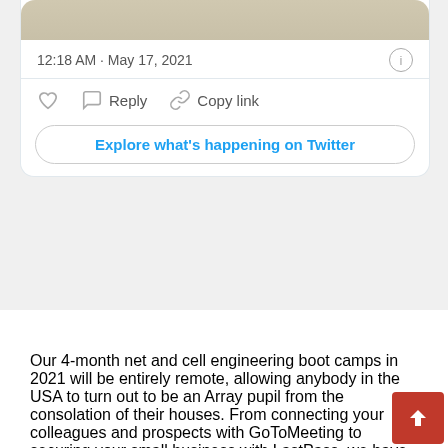[Figure (screenshot): Twitter tweet card showing timestamp '12:18 AM · May 17, 2021', info icon, action buttons (heart, Reply, Copy link), and an 'Explore what's happening on Twitter' button]
Our 4-month net and cell engineering boot camps in 2021 will be entirely remote, allowing anybody in the USA to turn out to be an Array pupil from the consolation of their houses. From connecting your colleagues and prospects with GoToMeeting to securing your small business with LastPass, we have the solutions to make wherever give you the outcomes you want. Enterprise-ready remote Technology help resolution for securely connecting to units on any network, from anywhere. Remote entry solution for simple entry to all your units